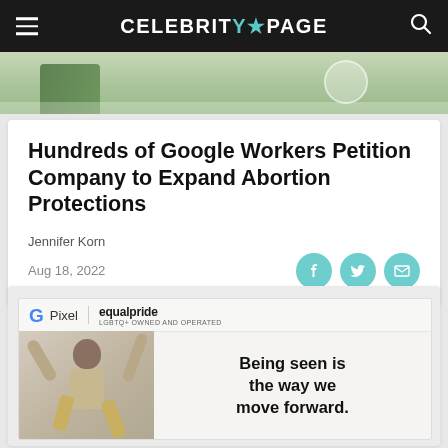CELEBRITY★PAGE
[Figure (photo): Partial top image showing a plant and floor area, cropped]
Hundreds of Google Workers Petition Company to Expand Abortion Protections
Jennifer Korn
Aug 18, 2022
[Figure (photo): Google Pixel and equalpride advertisement featuring a person jumping with arms raised. Text reads: Being seen is the way we move forward.]